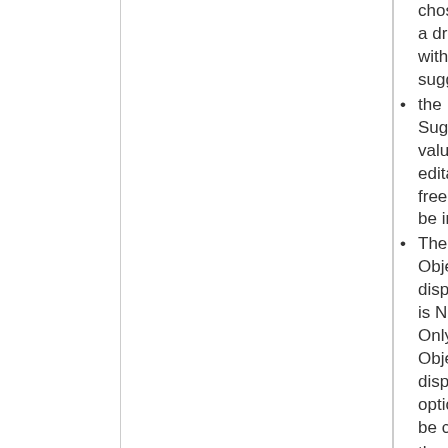chosen from a drop-down with suggestions
the Suggested value box is editable - free text can be inputted
The default Object disposition is None. Only one Object disposition option can be checked.
the description box is editable
a tag can be selected from the drop-down